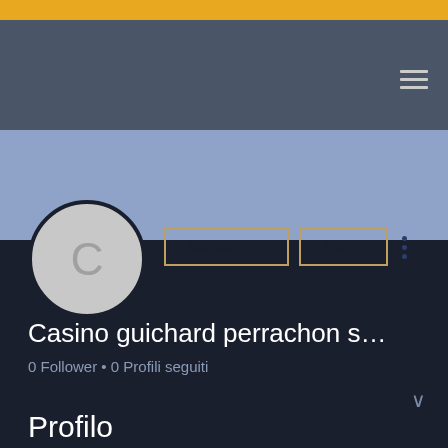[Figure (screenshot): Mobile app profile page screenshot showing gold top bar, dark gray header with hamburger menu, light blue band, profile avatar circle with letter C, Messaggio and Segui buttons, dark background with user name Casino guichard perrachon s..., follower info, Profilo section and registration date.]
Casino guichard perrachon s...
0 Follower • 0 Profili seguiti
Profilo
Data di iscrizione: 13 mag 2022